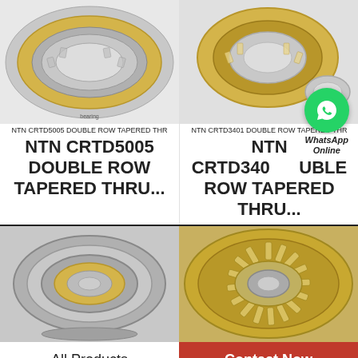[Figure (photo): NTN CRTD5005 double row tapered thrust bearing - silver/gold metallic ring bearing photo]
NTN CRTD5005 DOUBLE ROW TAPERED THR
NTN CRTD5005 DOUBLE ROW TAPERED THRU...
[Figure (photo): NTN CRTD3401 double row tapered thrust bearing - gold/silver bearing with separated components photo]
NTN CRTD3401 DOUBLE ROW TAPERED THR
NTN CRTD340 UBLE ROW TAPERED THRU...
[Figure (photo): WhatsApp Online icon overlay - green circle with phone/chat icon]
[Figure (photo): Thrust bearing ring with inner race - silver metallic, bottom left product photo]
[Figure (photo): Gold/brass roller thrust bearing ring viewed from above - bottom right product photo]
All Products
Contact Now